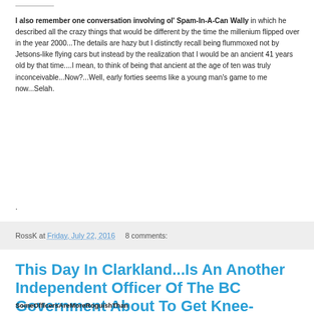I also remember one conversation involving ol' Spam-In-A-Can Wally in which he described all the crazy things that would be different by the time the millenium flipped over in the year 2000...The details are hazy but I distinctly recall being flummoxed not by Jetsons-like flying cars but instead by the realization that I would be an ancient 41 years old by that time....I mean, to think of being that ancient at the age of ten was truly inconceivable...Now?...Well, early forties seems like a young man's game to me now...Selah.
.
RossK at Friday, July 22, 2016   8 comments:
This Day In Clarkland...Is An Another Independent Officer Of The BC Government About To Get Knee-Capped?
SomeOfficersAreMoreRoguishThan